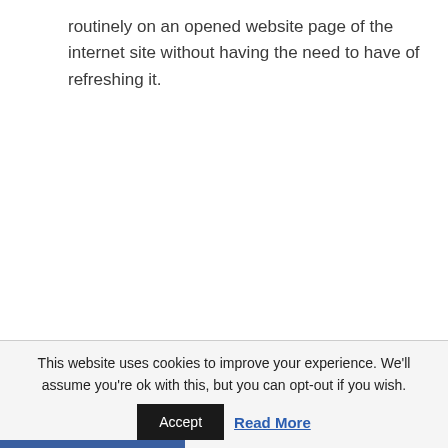routinely on an opened website page of the internet site without having the need to have of refreshing it.
This website uses cookies to improve your experience. We'll assume you're ok with this, but you can opt-out if you wish. Accept Read More